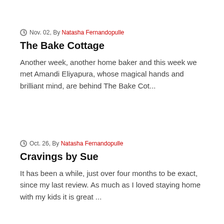Nov. 02, By Natasha Fernandopulle
The Bake Cottage
Another week, another home baker and this week we met Amandi Eliyapura, whose magical hands and brilliant mind, are behind The Bake Cot...
Oct. 26, By Natasha Fernandopulle
Cravings by Sue
It has been a while, just over four months to be exact, since my last review. As much as I loved staying home with my kids it is great ...